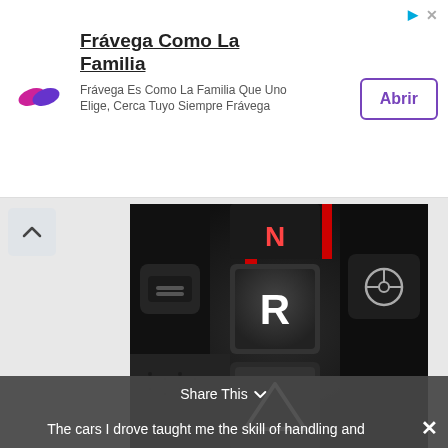[Figure (photo): Advertisement banner for Frávega with purple logo, text 'Frávega Como La Familia', subtitle 'Frávega Es Como La Familia Que Uno Elige, Cerca Tuyo Siempre Frávega', and an 'Abrir' button]
[Figure (photo): Close-up photo of McLaren 570 Spyder gear selector buttons showing N (Neutral, red lit), R (Reverse), and a triangle/hazard button on dark carbon fiber interior panel]
McLaren 570 Spyder Mantis Green Supercar drive neutral reverse gear changes handling sports track mode. l
The cars I drove taught me the skill of handling and